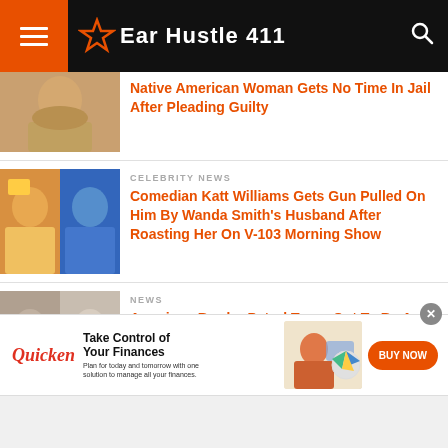Ear Hustle 411
Native American Woman Gets No Time In Jail After Pleading Guilty
CELEBRITY NEWS
Comedian Katt Williams Gets Gun Pulled On Him By Wanda Smith's Husband After Roasting Her On V-103 Morning Show
NEWS
American Border Patrol Turns Out To Be A Serial Killer & Charged With Killing 4 Women
[Figure (advertisement): Quicken ad: Take Control of Your Finances. Plan for today and tomorrow with one solution to manage all your finances. BUY NOW button.]